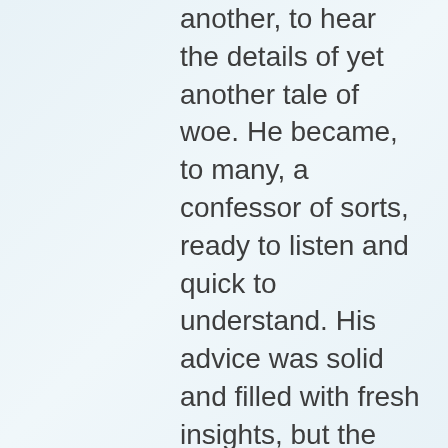another, to hear the details of yet another tale of woe. He became, to many, a confessor of sorts, ready to listen and quick to understand. His advice was solid and filled with fresh insights, but the main thing was that he was both